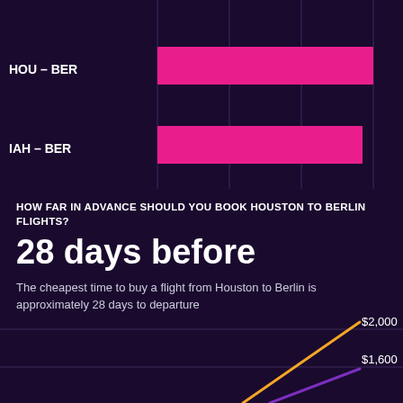[Figure (bar-chart): Houston to Berlin flight routes]
HOW FAR IN ADVANCE SHOULD YOU BOOK HOUSTON TO BERLIN FLIGHTS?
28 days before
The cheapest time to buy a flight from Houston to Berlin is approximately 28 days to departure
[Figure (line-chart): ]